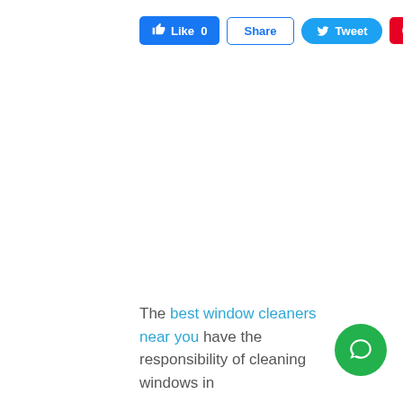[Figure (screenshot): Social media sharing buttons row: Like 0 (Facebook blue), Share (Facebook outlined), Tweet (Twitter blue), Save (Pinterest red)]
The best window cleaners near you have the responsibility of cleaning windows in
[Figure (other): Green circular chat/support bubble icon in bottom right corner]